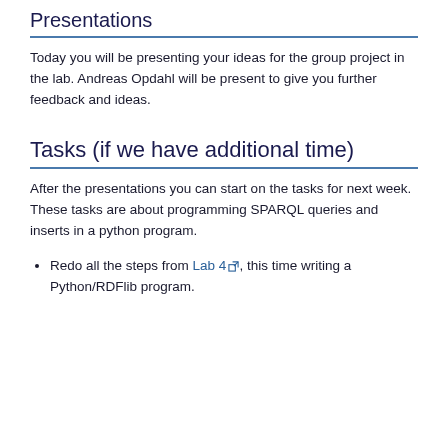Presentations
Today you will be presenting your ideas for the group project in the lab. Andreas Opdahl will be present to give you further feedback and ideas.
Tasks (if we have additional time)
After the presentations you can start on the tasks for next week. These tasks are about programming SPARQL queries and inserts in a python program.
Redo all the steps from Lab 4, this time writing a Python/RDFlib program.